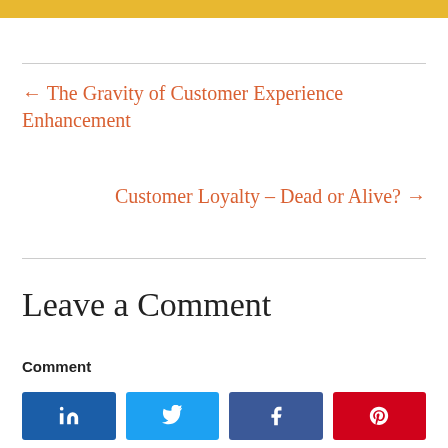← The Gravity of Customer Experience Enhancement
Customer Loyalty – Dead or Alive? →
Leave a Comment
Comment